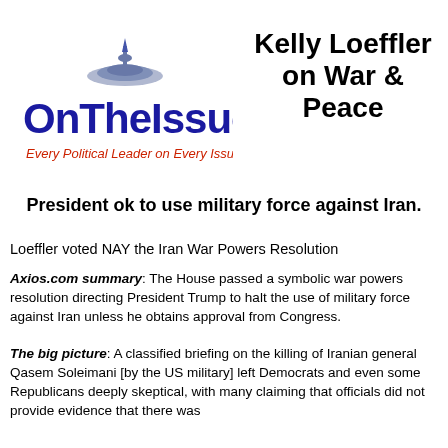[Figure (logo): OnTheIssues logo with capitol dome and text 'OnTheIssues Every Political Leader on Every Issue']
Kelly Loeffler on War & Peace
President ok to use military force against Iran.
Loeffler voted NAY the Iran War Powers Resolution
Axios.com summary: The House passed a symbolic war powers resolution directing President Trump to halt the use of military force against Iran unless he obtains approval from Congress.
The big picture: A classified briefing on the killing of Iranian general Qasem Soleimani [by the US military] left Democrats and even some Republicans deeply skeptical, with many claiming that officials did not provide evidence that there was